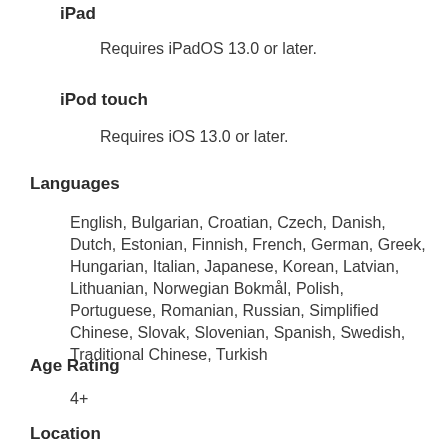iPad
Requires iPadOS 13.0 or later.
iPod touch
Requires iOS 13.0 or later.
Languages
English, Bulgarian, Croatian, Czech, Danish, Dutch, Estonian, Finnish, French, German, Greek, Hungarian, Italian, Japanese, Korean, Latvian, Lithuanian, Norwegian Bokmål, Polish, Portuguese, Romanian, Russian, Simplified Chinese, Slovak, Slovenian, Spanish, Swedish, Traditional Chinese, Turkish
Age Rating
4+
Location
This app may use your location even when it isn't open, which can decrease battery life...